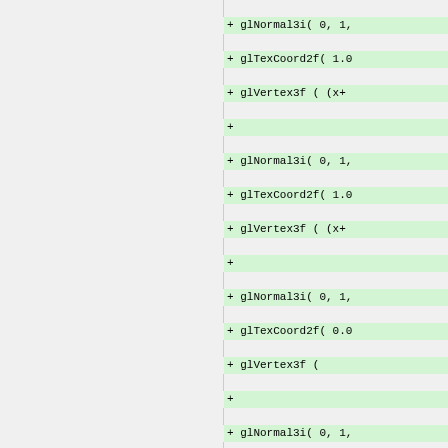Left column code diff showing closing braces, glEnd(); and closing brace
Right column code diff with added lines: glNormal3i(0,1,...), glTexCoord2f(1.0...), glVertex3f((x+...), blank, glNormal3i(0,1,...), glTexCoord2f(1.0...), glVertex3f((x+...), blank, glNormal3i(0,1,...), glTexCoord2f(0.0...), glVertex3f(...), blank, glNormal3i(0,1,...), glTexCoord2f(0.0...), glVertex3f(...), closing braces, +, glEnd();, +, + if(currentGroundTextu..., + glBindTexture(GL_TEXT..., + }, }